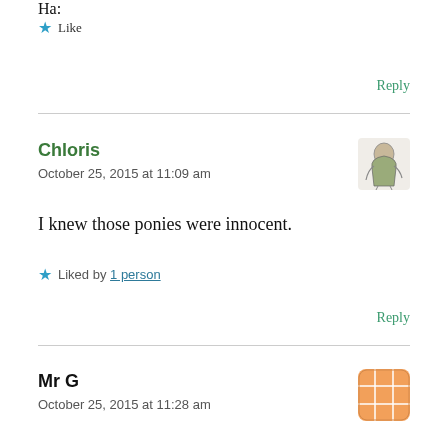Ha:
★ Like
Reply
Chloris
October 25, 2015 at 11:09 am
[Figure (illustration): Small decorative avatar illustration showing a sketched figure]
I knew those ponies were innocent.
★ Liked by 1 person
Reply
Mr G
October 25, 2015 at 11:28 am
[Figure (illustration): Orange grid/lattice pattern avatar icon]